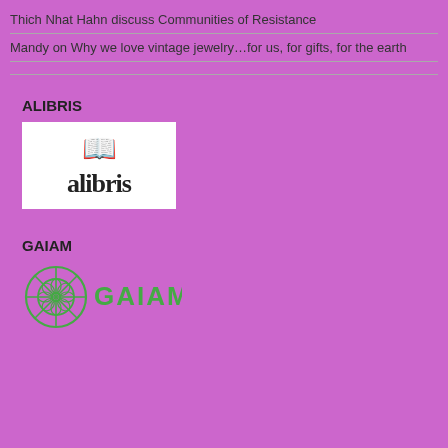Thich Nhat Hahn discuss Communities of Resistance
Mandy on Why we love vintage jewelry…for us, for gifts, for the earth
ALIBRIS
[Figure (logo): Alibris logo — open book icon above the word 'alibris' in bold serif font, on white background]
GAIAM
[Figure (logo): Gaiam logo — green circular mandala/wheel icon to the left of the text 'GAIAM' in green letters]